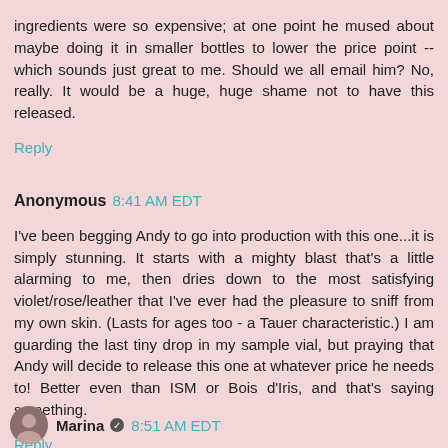ingredients were so expensive; at one point he mused about maybe doing it in smaller bottles to lower the price point -- which sounds just great to me. Should we all email him? No, really. It would be a huge, huge shame not to have this released.
Reply
Anonymous 8:41 AM EDT
I've been begging Andy to go into production with this one...it is simply stunning. It starts with a mighty blast that's a little alarming to me, then dries down to the most satisfying violet/rose/leather that I've ever had the pleasure to sniff from my own skin. (Lasts for ages too - a Tauer characteristic.) I am guarding the last tiny drop in my sample vial, but praying that Andy will decide to release this one at whatever price he needs to! Better even than ISM or Bois d'Iris, and that's saying something.
Reply
Marina 8:51 AM EDT